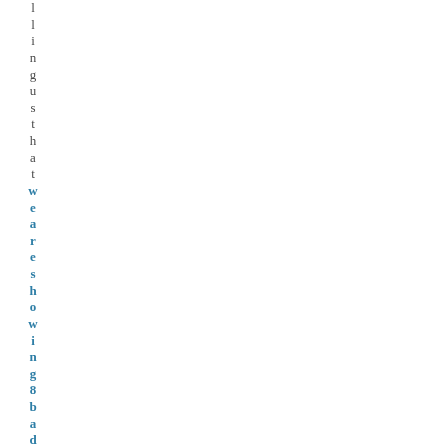llingusthat we are showing 8 bad th